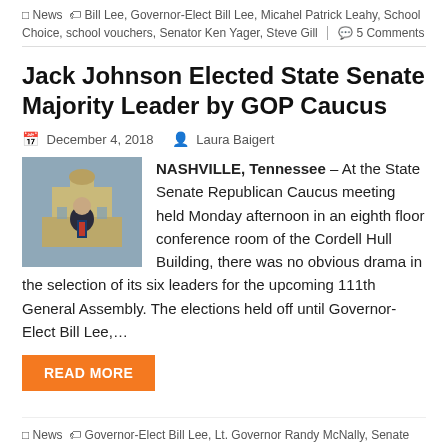News | Bill Lee, Governor-Elect Bill Lee, Micahel Patrick Leahy, School Choice, school vouchers, Senator Ken Yager, Steve Gill | 5 Comments
Jack Johnson Elected State Senate Majority Leader by GOP Caucus
December 4, 2018   Laura Baigert
[Figure (photo): Photo of Jack Johnson, a man in a suit standing in front of a building with a dome]
NASHVILLE, Tennessee – At the State Senate Republican Caucus meeting held Monday afternoon in an eighth floor conference room of the Cordell Hull Building, there was no obvious drama in the selection of its six leaders for the upcoming 111th General Assembly. The elections held off until Governor-Elect Bill Lee,…
READ MORE
News | Governor-Elect Bill Lee, Lt. Governor Randy McNally, Senate Republican Caucus Elections, Senator Becky Massey, Senator Brian Kelsey, Senator Dawn White, Senator Dolores Gresham, Senator Ferrell Haile, Senator Jack Johnson, Senator Ken Yager, Senator Mark Green, Senator Mike Bell...